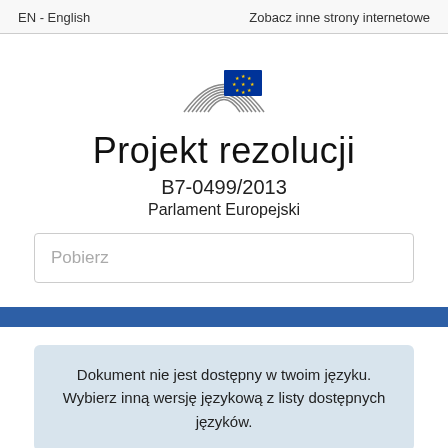EN - English   Zobacz inne strony internetowe
[Figure (logo): European Parliament logo — stylized parliament hemicycle lines with EU flag (blue with yellow stars) on the right]
Projekt rezolucji
B7-0499/2013
Parlament Europejski
Pobierz
Dokument nie jest dostępny w twoim języku. Wybierz inną wersję językową z listy dostępnych języków.